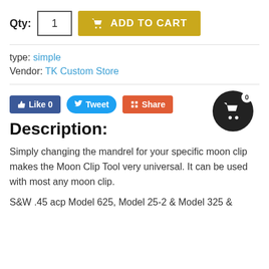Qty: 1  ADD TO CART
type: simple
Vendor: TK Custom Store
[Figure (screenshot): Social sharing buttons: Like 0 (Facebook), Tweet (Twitter), Share (Google+), and a black circular cart icon with badge showing 0]
Description:
Simply changing the mandrel for your specific moon clip makes the Moon Clip Tool very universal. It can be used with most any moon clip.
S&W .45 acp Model 625, Model 25-2 & Model 325 &